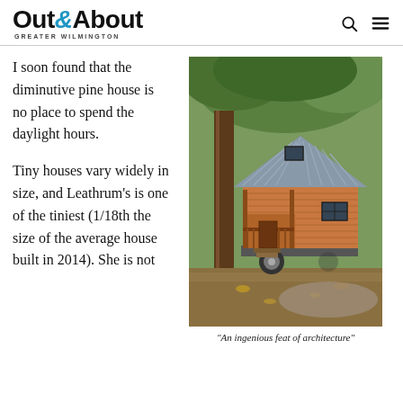Out&About GREATER WILMINGTON
I soon found that the diminutive pine house is no place to spend the daylight hours.
Tiny houses vary widely in size, and Leathrum's is one of the tiniest (1/18th the size of the average house built in 2014). She is not
[Figure (photo): A small wooden tiny house on a trailer with a metal roof and front porch, surrounded by trees]
"An ingenious feat of architecture"